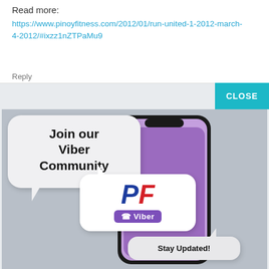Read more:
https://www.pinoyfitness.com/2012/01/run-united-1-2012-march-4-2012/#ixzz1nZTPaMu9
Reply
[Figure (illustration): Advertisement overlay with a CLOSE button in teal, showing a smartphone with a Viber community promotional image. A speech bubble reads 'Join our Viber Community', and another smaller bubble shows the PF (Pinoy Fitness) logo with a Viber bar, plus a 'Stay Updated!' bubble.]